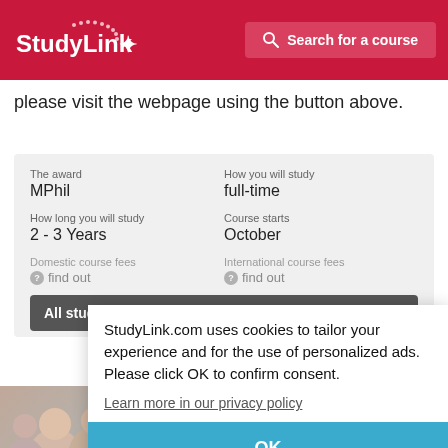StudyLink | Search for a course
please visit the webpage using the button above.
| The award | How you will study |
| --- | --- |
| MPhil | full-time |
| How long you will study | Course starts |
| 2 - 3 Years | October |
| Domestic course fees | International course fees |
| find out | find out |
All study options
StudyLink.com uses cookies to tailor your experience and for the use of personalized ads. Please click OK to confirm consent.
Learn more in our privacy policy
OK
Register to StudyLink